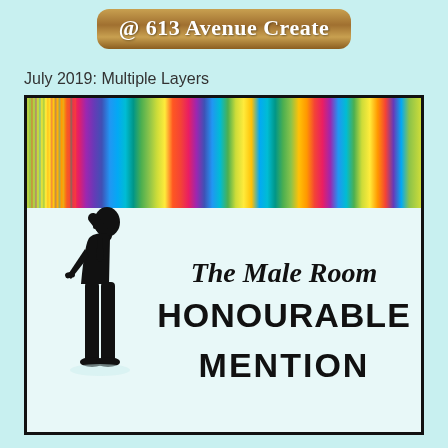@ 613 Avenue Create
July 2019: Multiple Layers
[Figure (illustration): Award badge image with rainbow striped top banner, a silhouette of a man in a suit looking through a camera on the left, and text reading 'The Male Room HONOURABLE MENTION' on a light blue/white background, bordered in black.]